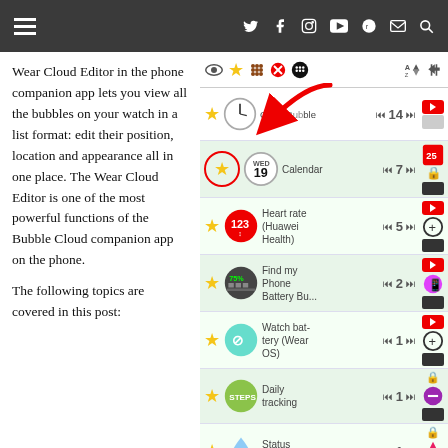Navigation bar with hamburger menu and social icons
Wear Cloud Editor in the phone companion app lets you view all the bubbles on your watch in a list format: edit their position, location and appearance all in one place. The Wear Cloud Editor is one of the most powerful functions of the Bubble Cloud companion app on the phone.

The following topics are covered in this post:
[Figure (screenshot): App list UI showing bubble items: Clock Bubble (14), Calendar (7), Heart rate Huawei Health (5), Find my Phone Battery Bu... (2), Watch battery Wear OS (1), Daily tracking (1), Status Bubbles (1). A red arrow points to the Calendar row with a star ring indicator.]